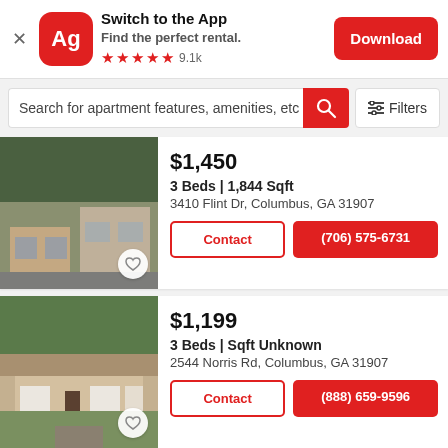[Figure (screenshot): App banner with Ag logo, Switch to the App text, Download button]
Switch to the App
Find the perfect rental.
★★★★★ 9.1k
Search for apartment features, amenities, etc
[Figure (photo): House exterior photo - first listing]
$1,450
3 Beds | 1,844 Sqft
3410 Flint Dr, Columbus, GA 31907
Contact  (706) 575-6731
[Figure (photo): House exterior photo - second listing]
$1,199
3 Beds | Sqft Unknown
2544 Norris Rd, Columbus, GA 31907
Contact  (888) 659-9596
$1,450